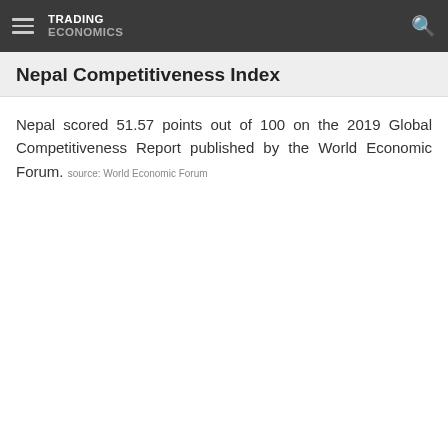TRADING ECONOMICS
Nepal Competitiveness Index
Nepal scored 51.57 points out of 100 on the 2019 Global Competitiveness Report published by the World Economic Forum. source: World Economic Forum